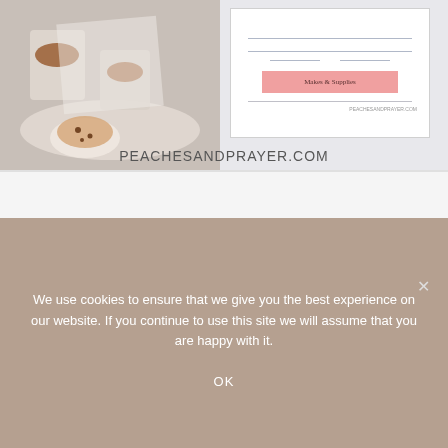[Figure (photo): Top portion showing food photos (desserts/snacks in glasses/cups on white plates) combined with a pink recipe card, with PEACHESANDPRAYER.COM watermark]
[Figure (screenshot): White content area with three grey navigation dots at bottom]
We use cookies to ensure that we give you the best experience on our website. If you continue to use this site we will assume that you are happy with it.
OK